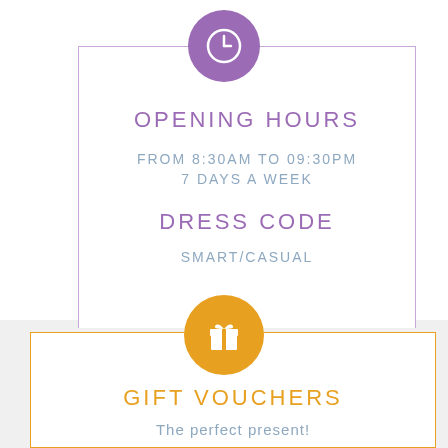[Figure (illustration): Purple circle with white clock icon]
OPENING HOURS
FROM 8:30AM TO 09:30PM
7 DAYS A WEEK
DRESS CODE
SMART/CASUAL
[Figure (illustration): Orange/gold circle with white gift box icon]
GIFT VOUCHERS
The perfect present!